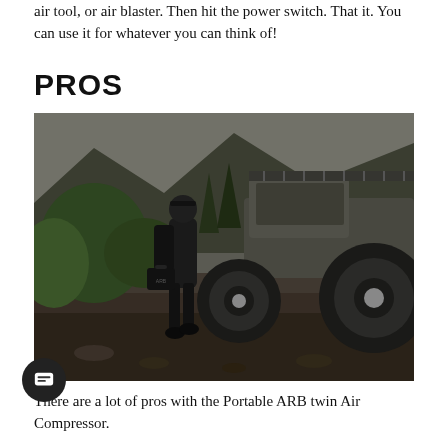air tool, or air blaster. Then hit the power switch. That it. You can use it for whatever you can think of!
PROS
[Figure (photo): A person dressed in black carrying an ARB case standing beside a lifted gray pickup truck with a roof rack, parked on a rocky hill with green trees and mountains in the background under an overcast sky.]
There are a lot of pros with the Portable ARB twin Air Compressor.